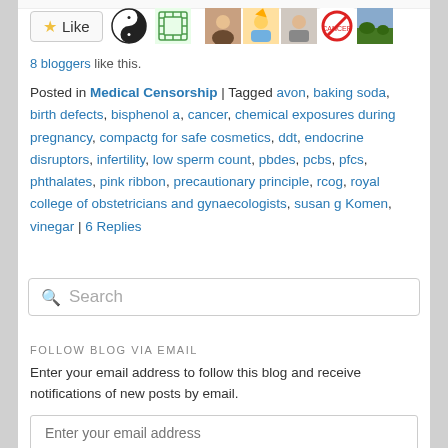[Figure (screenshot): Like button with star icon, yin-yang symbol, decorative knot icon, and five blogger avatar thumbnails]
8 bloggers like this.
Posted in Medical Censorship | Tagged avon, baking soda, birth defects, bisphenol a, cancer, chemical exposures during pregnancy, compactg for safe cosmetics, ddt, endocrine disruptors, infertility, low sperm count, pbdes, pcbs, pfcs, phthalates, pink ribbon, precautionary principle, rcog, royal college of obstetricians and gynaecologists, susan g Komen, vinegar | 6 Replies
Search
FOLLOW BLOG VIA EMAIL
Enter your email address to follow this blog and receive notifications of new posts by email.
Enter your email address
Follow